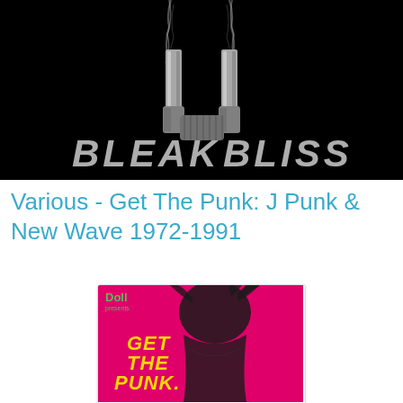[Figure (illustration): Bleak Bliss banner - black background with two smoking gun barrels and stylized 'BLEAK BLISS' text in white grunge typography]
Various - Get The Punk: J Punk & New Wave 1972-1991
[Figure (photo): Album cover art for 'Get The Punk: J Punk & New Wave 1972-1991' - hot pink/magenta background with dark figure image, 'Doll presents' logo in green at top left, 'GET THE PUNK.' text in yellow stylized typography in lower center]